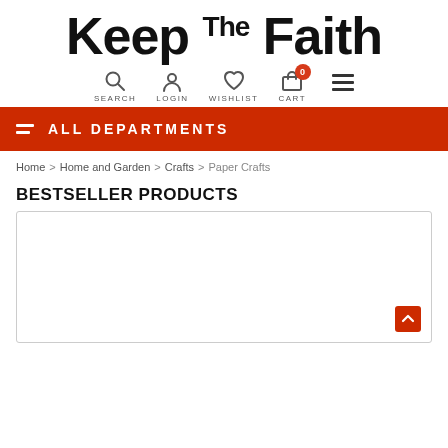Keep The Faith
SEARCH   LOGIN   WISHLIST   CART   0
ALL DEPARTMENTS
Home > Home and Garden > Crafts > Paper Crafts
BESTSELLER PRODUCTS
[Figure (other): Product card area with border, empty product image, and a red scroll-to-top arrow button in bottom-right corner]